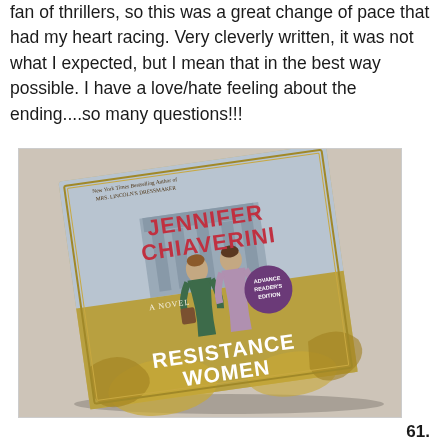fan of thrillers, so this was a great change of pace that had my heart racing. Very cleverly written, it was not what I expected, but I mean that in the best way possible. I have a love/hate feeling about the ending....so many questions!!!
[Figure (photo): Photo of a book titled 'Resistance Women' by Jennifer Chiaverini, described as 'A Novel'. The cover shows two women from behind walking toward the Brandenburg Gate. The book is an Advance Reader's Edition. It is placed on a light fabric surface.]
61.